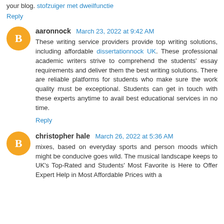your blog. stofzuiger met dweilfunctie
Reply
aaronnock  March 23, 2022 at 9:42 AM
These writing service providers provide top writing solutions, including affordable dissertationnock UK. These professional academic writers strive to comprehend the students' essay requirements and deliver them the best writing solutions. There are reliable platforms for students who make sure the work quality must be exceptional. Students can get in touch with these experts anytime to avail best educational services in no time.
Reply
christopher hale  March 26, 2022 at 5:36 AM
mixes, based on everyday sports and person moods which might be conducive goes wild. The musical landscape keeps to UK's Top-Rated and Students' Most Favorite is Here to Offer Expert Help in Most Affordable Prices with a